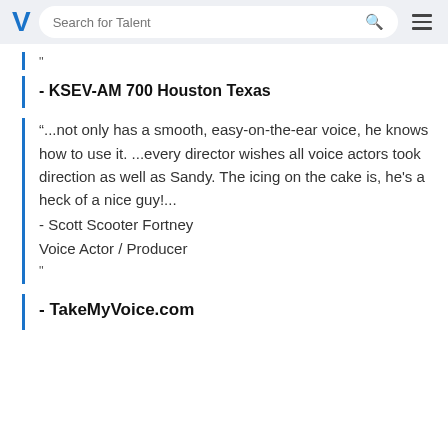Search for Talent
"
- KSEV-AM 700 Houston Texas
“...not only has a smooth, easy-on-the-ear voice, he knows how to use it. ...every director wishes all voice actors took direction as well as Sandy. The icing on the cake is, he's a heck of a nice guy!...
- Scott Scooter Fortney
Voice Actor / Producer
"
- TakeMyVoice.com